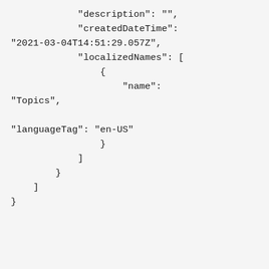"description": "",
            "createdDateTime":
"2021-03-04T14:51:29.057Z",
            "localizedNames": [
                {
                    "name":
"Topics",

"languageTag": "en-US"
                }
            ]
        }
    ]
}